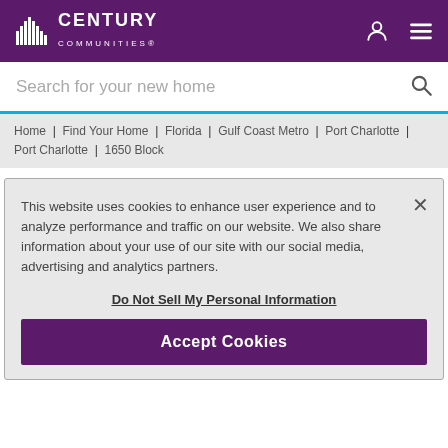CENTURY COMMUNITIES®
Search for your new home
Home | Find Your Home | Florida | Gulf Coast Metro | Port Charlotte | Port Charlotte | 1650 Block
3 bed | 2 bath | 2-bay | 1650 sqft
This website uses cookies to enhance user experience and to analyze performance and traffic on our website. We also share information about your use of our site with our social media, advertising and analytics partners.

Do Not Sell My Personal Information

Accept Cookies